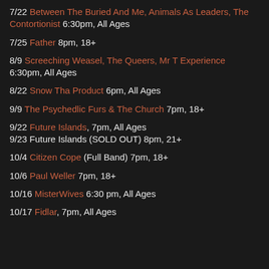7/22 Between The Buried And Me, Animals As Leaders, The Contortionist 6:30pm, All Ages
7/25 Father 8pm, 18+
8/9 Screeching Weasel, The Queers, Mr T Experience 6:30pm, All Ages
8/22 Snow Tha Product 6pm, All Ages
9/9 The Psychedlic Furs & The Church 7pm, 18+
9/22 Future Islands, 7pm, All Ages
9/23 Future Islands (SOLD OUT) 8pm, 21+
10/4 Citizen Cope (Full Band) 7pm, 18+
10/6 Paul Weller 7pm, 18+
10/16 MisterWives 6:30 pm, All Ages
10/17 Fidlar, 7pm, All Ages